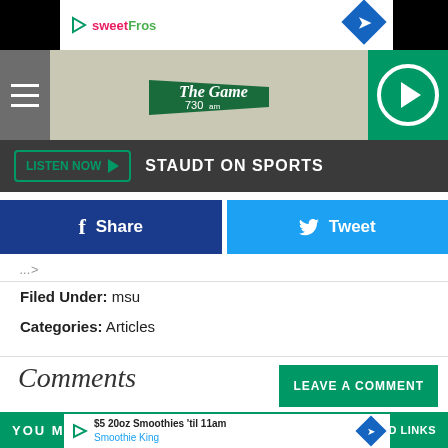[Figure (screenshot): SweetFrog app bar with logo and navigation diamond icon]
[Figure (screenshot): The Game 730am radio station header with hamburger menu and play button]
[Figure (screenshot): LISTEN NOW button bar with text STAUDT ON SPORTS]
[Figure (screenshot): Share and Tweet social media buttons]
...
Filed Under: msu
Categories: Articles
Comments
[Figure (screenshot): LEAVE A COMMENT green button]
YOU MAY LIKE   SPONSORED LINKS
[Figure (screenshot): Ad bar: $5 20oz Smoothies 'til 11am - Smoothie King]